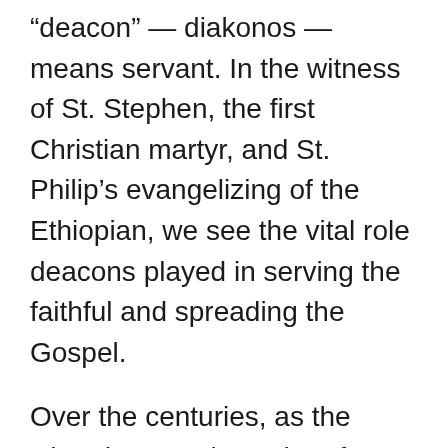“deacon” — diakonos — means servant. In the witness of St. Stephen, the first Christian martyr, and St. Philip’s evangelizing of the Ethiopian, we see the vital role deacons played in serving the faithful and spreading the Gospel.
Over the centuries, as the Church grew, the order of deacons faded into a step just before priestly ordination. Even today, candidates for the priesthood receive their diaconal ordination and serve for a time as deacons before continuing on to the priesthood.
But the many new pastoral demands of the